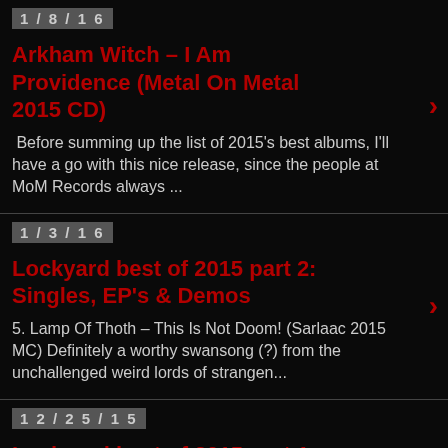1/8/16
Arkham Witch – I Am Providence (Metal On Metal 2015 CD)
Before summing up the list of 2015's best albums, I'll have a go with this nice release, since the people at MoM Records always ...
1/3/16
Lockyard best of 2015 part 2: Singles, EP's & Demos
5. Lamp Of Thoth – This Is Not Doom! (Sarlaac 2015 MC) Definitely a worthy swansong (?) from the unchallenged weird lords of strangen...
12/25/15
Lockyard best of 2015 part 1: Compilations & Re-issues
5. Prophecy - Whom Gods Destroy - Demos 1985-1986